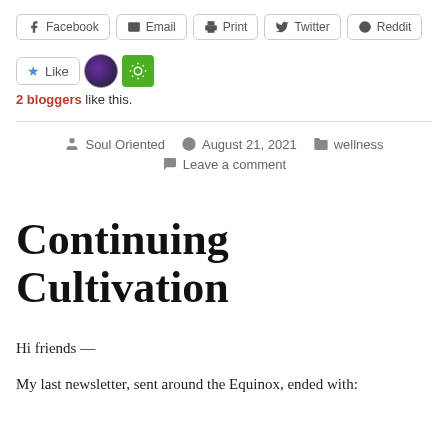Facebook  Email  Print  Twitter  Reddit
★ Like  [avatar]  [green icon]
2 bloggers like this.
Soul Oriented  August 21, 2021  wellness
Leave a comment
Continuing Cultivation
Hi friends —
My last newsletter, sent around the Equinox, ended with: